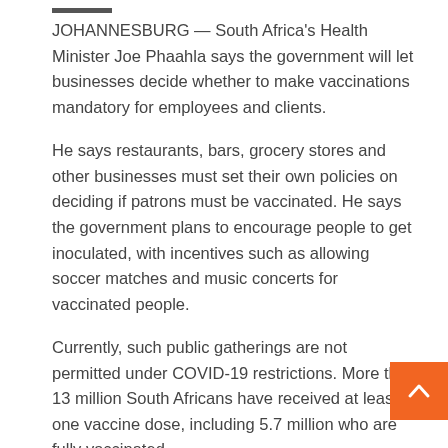JOHANNESBURG — South Africa's Health Minister Joe Phaahla says the government will let businesses decide whether to make vaccinations mandatory for employees and clients.
He says restaurants, bars, grocery stores and other businesses must set their own policies on deciding if patrons must be vaccinated. He says the government plans to encourage people to get inoculated, with incentives such as allowing soccer matches and music concerts for vaccinated people.
Currently, such public gatherings are not permitted under COVID-19 restrictions. More than 13 million South Africans have received at least one vaccine dose, including 5.7 million who are fully vaccinated.